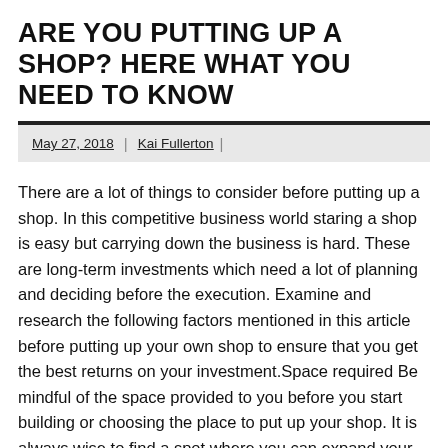ARE YOU PUTTING UP A SHOP? HERE WHAT YOU NEED TO KNOW
May 27, 2018 | Kai Fullerton |
There are a lot of things to consider before putting up a shop. In this competitive business world staring a shop is easy but carrying down the business is hard. These are long-term investments which need a lot of planning and deciding before the execution. Examine and research the following factors mentioned in this article before putting up your own shop to ensure that you get the best returns on your investment.Space required Be mindful of the space provided to you before you start building or choosing the place to put up your shop. It is always wise to find a spot where you can expand your shop if needed. This will prevent the chances of having